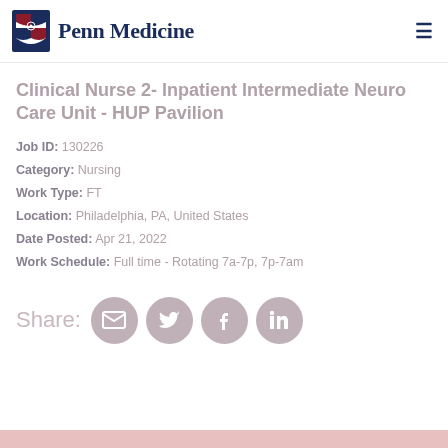[Figure (logo): Penn Medicine logo with shield emblem and text]
Clinical Nurse 2- Inpatient Intermediate Neuro Care Unit - HUP Pavilion
Job ID: 130226
Category: Nursing
Work Type: FT
Location: Philadelphia, PA, United States
Date Posted: Apr 21, 2022
Work Schedule: Full time - Rotating 7a-7p, 7p-7am
Share: [email] [twitter] [facebook] [linkedin]